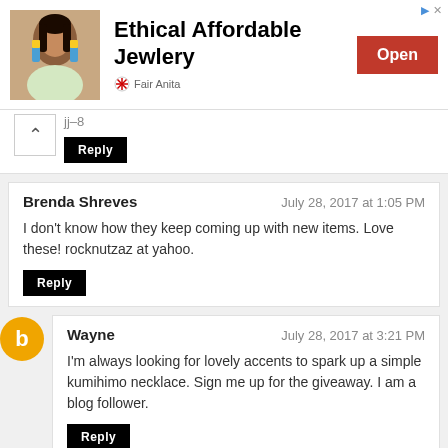[Figure (illustration): Advertisement banner for Fair Anita jewelry with a woman wearing colorful earrings, text 'Ethical Affordable Jewlery', Open button, and ad icon.]
jj–8
Reply
Brenda Shreves
July 28, 2017 at 1:05 PM
I don't know how they keep coming up with new items. Love these! rocknutzaz at yahoo.
Reply
Wayne
July 28, 2017 at 3:21 PM
I'm always looking for lovely accents to spark up a simple kumihimo necklace. Sign me up for the giveaway. I am a blog follower.
Reply